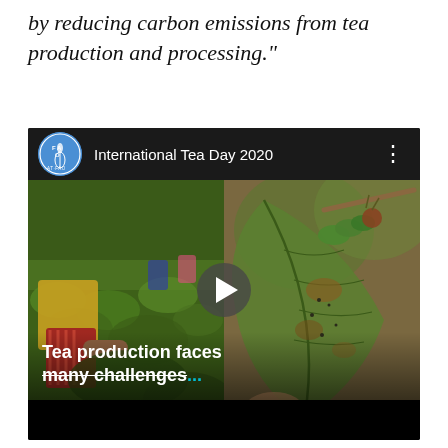by reducing carbon emissions from tea production and processing."
[Figure (screenshot): YouTube-style video thumbnail for 'International Tea Day 2020' by FAO. Shows a split image: left side shows a worker picking tea in a green field, right side shows a close-up of a leaf with an insect. A play button is centered. Overlay text reads 'Tea production faces many challenges...' with 'many challenges' in cyan with strikethrough.]